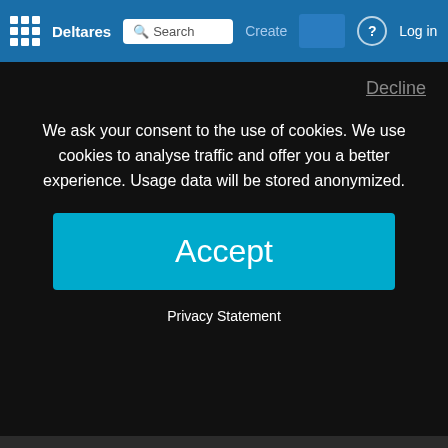Deltares | Search | Create | Log in
[Figure (screenshot): Code editor showing NetCDF properties and global attributes including DOUBLE_PROPERTY, logical_property, title, institution, source fields]
Decline
We ask your consent to the use of cookies. We use cookies to analyse traffic and offer you a better experience. Usage data will be stored anonymized.
Accept
Privacy Statement
"..\\work\\more_boundary_data.n